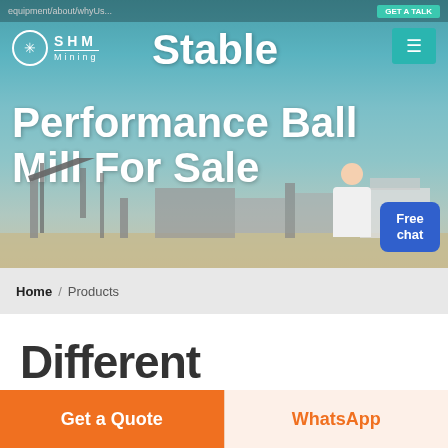[Figure (screenshot): SHM Mining website hero banner showing mining equipment/conveyor belt machinery in background with teal sky. Company logo top left, hamburger menu top right, large white bold headline text 'Stable Performance Ball Mill For Sale', customer service representative figure, and blue 'Free chat' button.]
Home / Products
Different Machines To Meet All
Get a Quote   WhatsApp